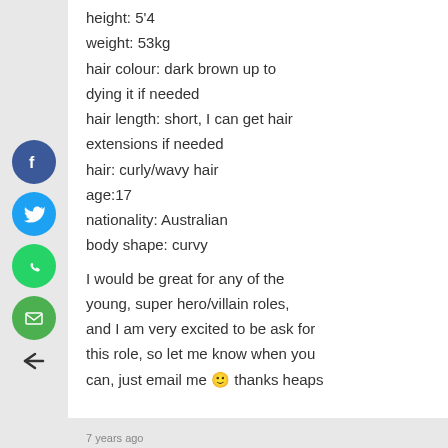height: 5'4
weight: 53kg
hair colour: dark brown up to dying it if needed
hair length: short, I can get hair extensions if needed
hair: curly/wavy hair
age:17
nationality: Australian
body shape: curvy

I would be great for any of the young, super hero/villain roles, and I am very excited to be ask for this role, so let me know when you can, just email me 🙂 thanks heaps
7 years ago